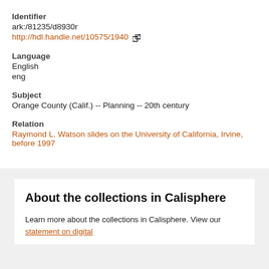Identifier
ark:/81235/d8930r
http://hdl.handle.net/10575/1940 [external link]
Language
English
eng
Subject
Orange County (Calif.) -- Planning -- 20th century
Relation
Raymond L. Watson slides on the University of California, Irvine, before 1997
About the collections in Calisphere
Learn more about the collections in Calisphere. View our statement on digital